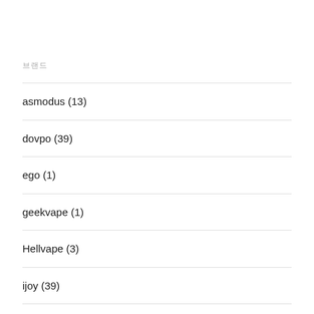브랜드
asmodus (13)
dovpo (39)
ego (1)
geekvape (1)
Hellvape (3)
ijoy (39)
relx airistech (34)
smok (35)